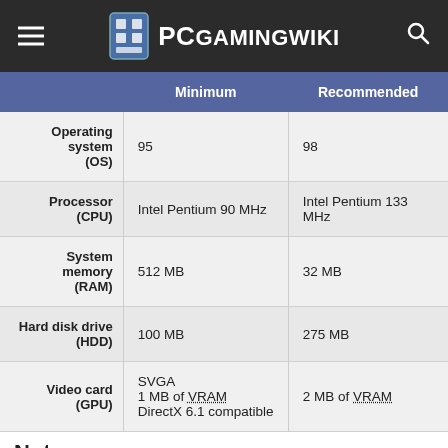PCGamingWiki
|  | Minimum | Recommended |
| --- | --- | --- |
| Operating system (OS) | 95 | 98 |
| Processor (CPU) | Intel Pentium 90 MHz | Intel Pentium 133 MHz |
| System memory (RAM) | 512 MB | 32 MB |
| Hard disk drive (HDD) | 100 MB | 275 MB |
| Video card (GPU) | SVGA
1 MB of VRAM
DirectX 6.1 compatible | 2 MB of VRAM |
Notes
↑ SafeDisc retail DRM does not work on Windows 10[1] or Windows 11 and is disabled by default on Windows Vista, Windows 7, Windows 8 and Windows 8.1 when the...